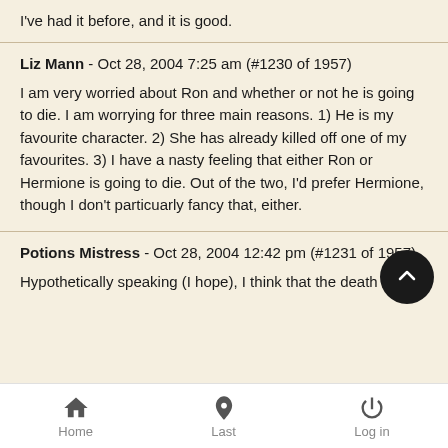I've had it before, and it is good.
Liz Mann - Oct 28, 2004 7:25 am (#1230 of 1957)
I am very worried about Ron and whether or not he is going to die. I am worrying for three main reasons. 1) He is my favourite character. 2) She has already killed off one of my favourites. 3) I have a nasty feeling that either Ron or Hermione is going to die. Out of the two, I'd prefer Hermione, though I don't particuarly fancy that, either.
Potions Mistress - Oct 28, 2004 12:42 pm (#1231 of 1957)
Hypothetically speaking (I hope), I think that the death of Ron
Home  Last  Log in